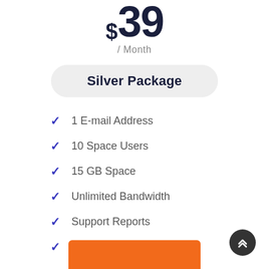$39 / Month
Silver Package
1 E-mail Address
10 Space Users
15 GB Space
Unlimited Bandwidth
Support Reports
15GB Uploads